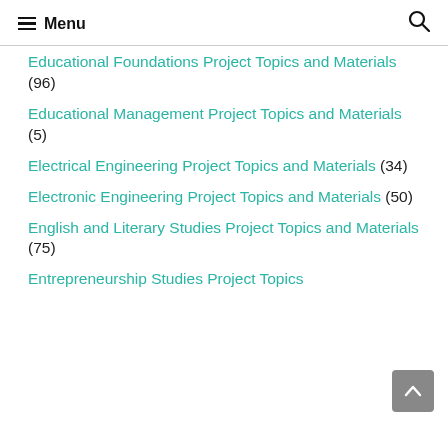Menu
Educational Foundations Project Topics and Materials (96)
Educational Management Project Topics and Materials (5)
Electrical Engineering Project Topics and Materials (34)
Electronic Engineering Project Topics and Materials (50)
English and Literary Studies Project Topics and Materials (75)
Entrepreneurship Studies Project Topics…